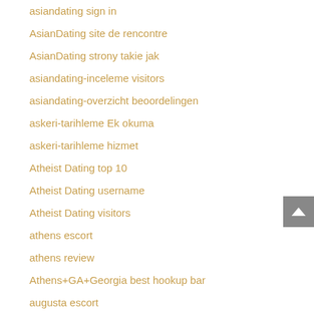asiandating sign in
AsianDating site de rencontre
AsianDating strony takie jak
asiandating-inceleme visitors
asiandating-overzicht beoordelingen
askeri-tarihleme Ek okuma
askeri-tarihleme hizmet
Atheist Dating top 10
Atheist Dating username
Atheist Dating visitors
athens escort
athens review
Athens+GA+Georgia best hookup bar
augusta escort
augusta escort index